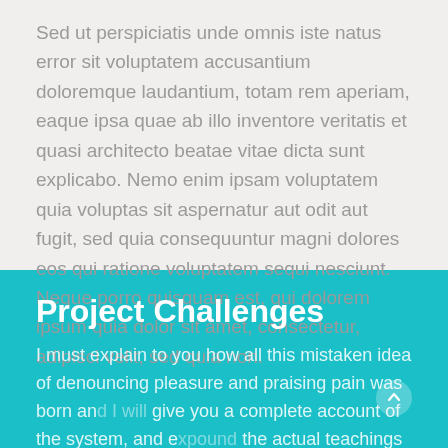Sed ut perspiciatis unde omnis iste natus error sit voluptatem accusantium doloremque laudantium, totam rem aperiam, eaque ipsa quae ab illo inventore veritatis et quasi architecto beatae vitae dicta sunt explicabo. Nemo enim ipsam voluptatem quia voluptas sit aspernatur aut odit aut fugit, sed quia consequuntur magni dolores eos qui ratione voluptatem sequi nesciunt. Neque porro quisquam est, qui dolorem ipsum quia dolor sit amet, consectetur, adipisci velit, sed quia non.
Project Challenges
I must explain to you how all this mistaken idea of denouncing pleasure and praising pain was born and I will give you a complete account of the system, and expound the actual teachings of the great explorer of the truth, the